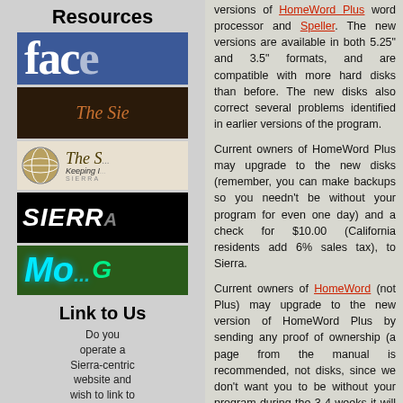Resources
[Figure (screenshot): Facebook logo block (blue background, white 'face' text)]
[Figure (screenshot): Dark Sierra On-Line themed image with stylized text]
[Figure (logo): Sierra On-Line globe logo with text 'The S... Keeping I...']
[Figure (screenshot): Sierra black banner with white italic text 'SIERR...']
[Figure (screenshot): Green banner with cyan/teal styled 'Mo...' text]
Link to Us
Do you operate a Sierra-centric website and wish to link to
versions of HomeWord Plus word processor and Speller. The new versions are available in both 5.25" and 3.5" formats, and are compatible with more hard disks than before. The new disks also correct several problems identified in earlier versions of the program.
Current owners of HomeWord Plus may upgrade to the new disks (remember, you can make backups so you needn't be without your program for even one day) and a check for $10.00 (California residents add 6% sales tax), to Sierra.
Current owners of HomeWord (not Plus) may upgrade to the new version of HomeWord Plus by sending any proof of ownership (a page from the manual is recommended, not disks, since we don't want you to be without your program during the 3-4 weeks it will take to process and ship your order) and a check for the upgrade price of $35.00 (California residents add 6% sales tax), to Sierra. The upgrade package you will receive includes a word processor, speller disk, and complete documentation for the program including a new Advanced Features manual. Please specify if you want 3.5" disks.
[Figure (screenshot): Police Quest game title screen showing 'POLICE' text in outlined blocky letters on dark background]